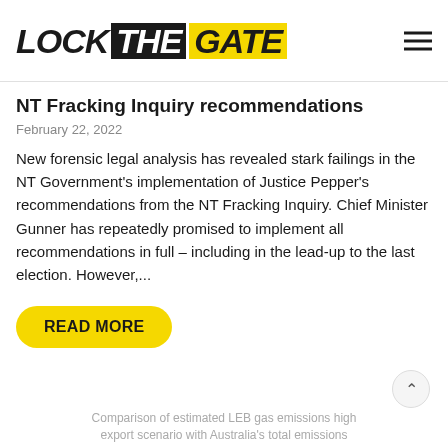LOCK THE GATE
NT Fracking Inquiry recommendations
February 22, 2022
New forensic legal analysis has revealed stark failings in the NT Government’s implementation of Justice Pepper’s recommendations from the NT Fracking Inquiry. Chief Minister Gunner has repeatedly promised to implement all recommendations in full – including in the lead-up to the last election. However,...
READ MORE
Comparison of estimated LEB gas emissions high export scenario with Australia’s total emissions